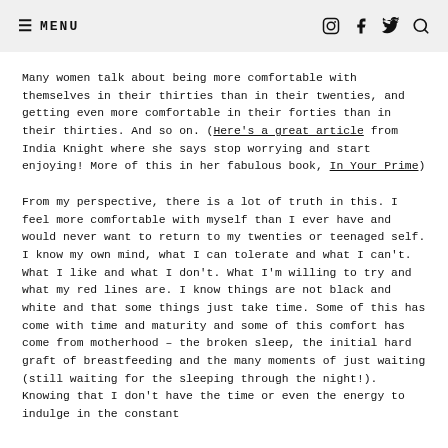≡ MENU  [instagram] [facebook] [twitter] [search]
Many women talk about being more comfortable with themselves in their thirties than in their twenties, and getting even more comfortable in their forties than in their thirties. And so on. (Here's a great article from India Knight where she says stop worrying and start enjoying! More of this in her fabulous book, In Your Prime)
From my perspective, there is a lot of truth in this. I feel more comfortable with myself than I ever have and would never want to return to my twenties or teenaged self. I know my own mind, what I can tolerate and what I can't. What I like and what I don't. What I'm willing to try and what my red lines are. I know things are not black and white and that some things just take time. Some of this has come with time and maturity and some of this comfort has come from motherhood – the broken sleep, the initial hard graft of breastfeeding and the many moments of just waiting (still waiting for the sleeping through the night!). Knowing that I don't have the time or even the energy to indulge in the constant